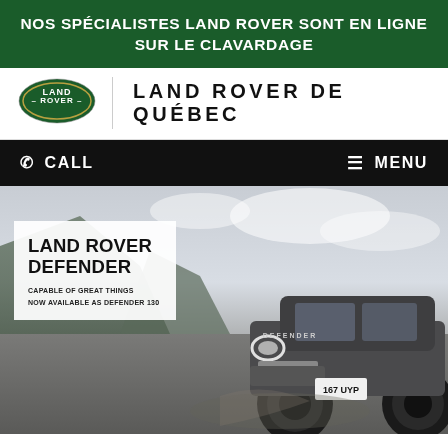NOS SPÉCIALISTES LAND ROVER SONT EN LIGNE SUR LE CLAVARDAGE
[Figure (logo): Land Rover oval green logo with LAND-ROVER text inside]
LAND ROVER DE QUÉBEC
CALL   MENU
[Figure (photo): Land Rover Defender SUV driving on rocky terrain with mountains in background, license plate 167 UYP]
LAND ROVER DEFENDER
CAPABLE OF GREAT THINGS
NOW AVAILABLE AS DEFENDER 130